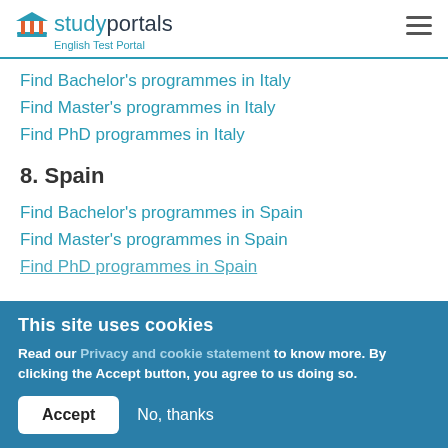studyportals English Test Portal
Find Bachelor’s programmes in Italy
Find Master’s programmes in Italy
Find PhD programmes in Italy
8. Spain
Find Bachelor’s programmes in Spain
Find Master’s programmes in Spain
Find PhD programmes in Spain
This site uses cookies
Read our Privacy and cookie statement to know more. By clicking the Accept button, you agree to us doing so.